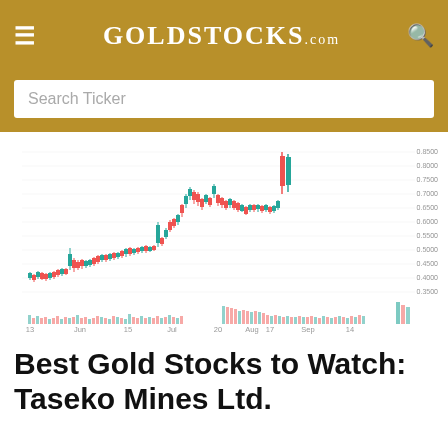GoldStocks.com
Search Ticker
[Figure (continuous-plot): Candlestick chart of a gold mining stock (Taseko Mines Ltd.) from May 13 to September 14, showing price range approximately 0.3500 to 0.8500, with red and teal candlesticks and a volume bar chart below. X-axis labels: 13, Jun, 15, Jul, 20, Aug, 17, Sep, 14. Y-axis labels: 0.8500, 0.8000, 0.7500, 0.7000, 0.6500, 0.6000, 0.5500, 0.5000, 0.4500, 0.4000, 0.3500.]
Best Gold Stocks to Watch: Taseko Mines Ltd.